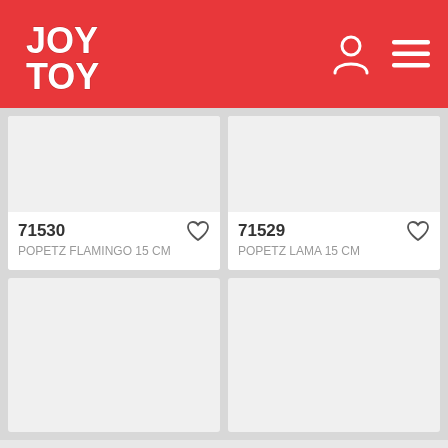JOY TOY
71530
POPETZ FLAMINGO 15 CM
71529
POPETZ LAMA 15 CM